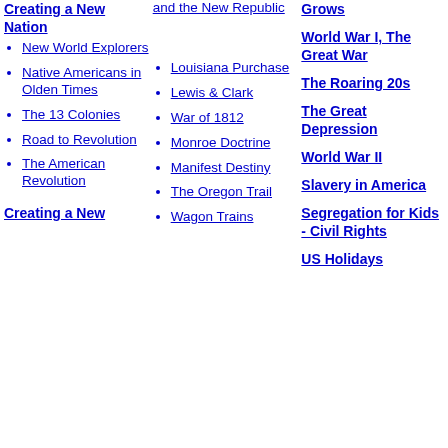Creating a New Nation
New World Explorers
Native Americans in Olden Times
The 13 Colonies
Road to Revolution
The American Revolution
Creating a New
Louisiana Purchase
Lewis & Clark
War of 1812
Monroe Doctrine
Manifest Destiny
The Oregon Trail
Wagon Trains
Grows
World War I, The Great War
The Roaring 20s
The Great Depression
World War II
Slavery in America
Segregation for Kids - Civil Rights
US Holidays